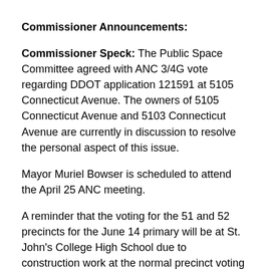Commissioner Announcements:
Commissioner Speck: The Public Space Committee agreed with ANC 3/4G vote regarding DDOT application 121591 at 5105 Connecticut Avenue. The owners of 5105 Connecticut Avenue and 5103 Connecticut Avenue are currently in discussion to resolve the personal aspect of this issue.
Mayor Muriel Bowser is scheduled to attend the April 25 ANC meeting.
A reminder that the voting for the 51 and 52 precincts for the June 14 primary will be at St. John's College High School due to construction work at the normal precinct voting location at Lafayette School. This change in venue is for the June 14 primary only.
The DC Candidates Forum co-sponsored by ANC 3/4G, the Chevy Chase Citizens Association and the Shepherd Park